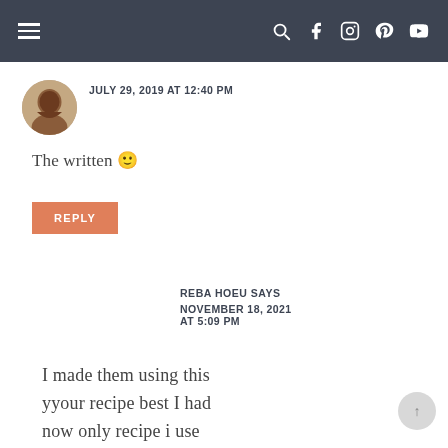Navigation bar with hamburger menu and social icons
JULY 29, 2019 AT 12:40 PM
The written 🙂
REPLY
REBA HOEU SAYS
NOVEMBER 18, 2021 AT 5:09 PM
I made them using this yyour recipe best I had now only recipe i use